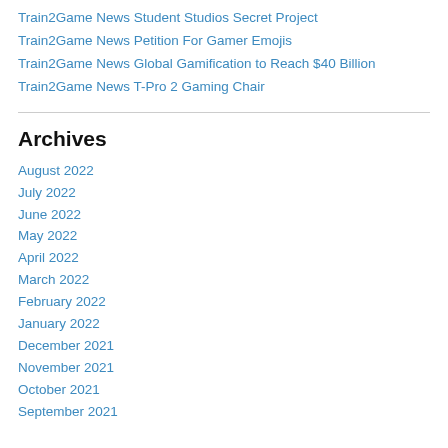Train2Game News Student Studios Secret Project
Train2Game News Petition For Gamer Emojis
Train2Game News Global Gamification to Reach $40 Billion
Train2Game News T-Pro 2 Gaming Chair
Archives
August 2022
July 2022
June 2022
May 2022
April 2022
March 2022
February 2022
January 2022
December 2021
November 2021
October 2021
September 2021